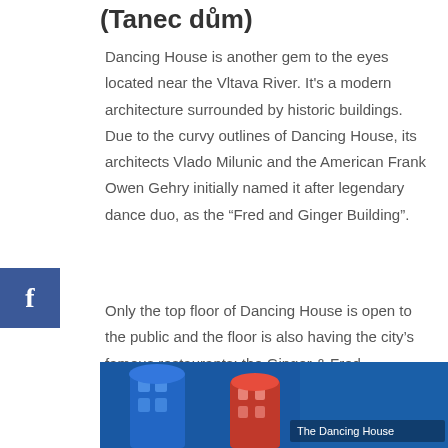(Tanec dům)
Dancing House is another gem to the eyes located near the Vltava River. It's a modern architecture surrounded by historic buildings. Due to the curvy outlines of Dancing House, its architects Vlado Milunic and the American Frank Owen Gehry initially named it after legendary dance duo, as the “Fred and Ginger Building”.
Only the top floor of Dancing House is open to the public and the floor is also having the city’s famous restaurants: the Ginger & Fred Restaurant.
[Figure (photo): Photo of the Dancing House building with blue and reddish tones, labeled 'The Dancing House']